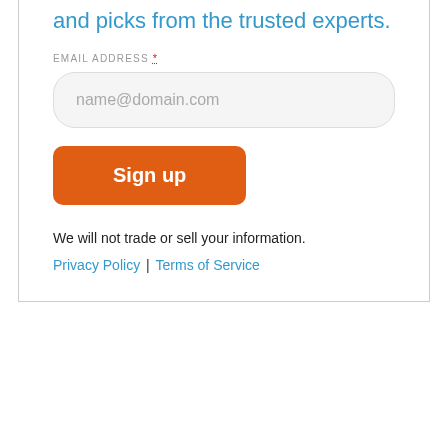and picks from the trusted experts.
EMAIL ADDRESS *
[Figure (screenshot): Email input field with placeholder text 'name@domain.com' and a rounded rectangle border on light gray background]
[Figure (screenshot): Orange 'Sign up' button with rounded corners]
We will not trade or sell your information.
Privacy Policy | Terms of Service